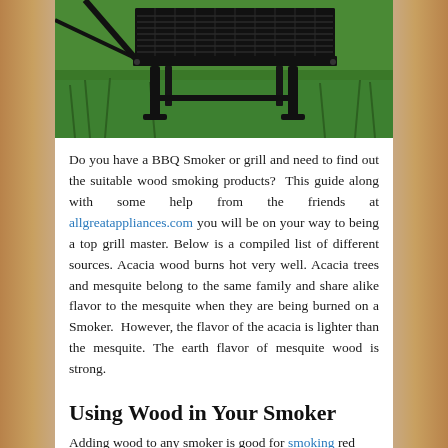[Figure (photo): A black BBQ smoker/grill sitting on green grass, viewed from a slightly elevated angle. The grill has a rectangular cooking grate on top supported by black metal legs.]
Do you have a BBQ Smoker or grill and need to find out the suitable wood smoking products?  This guide along with some help from the friends at allgreatappliances.com you will be on your way to being a top grill master. Below is a compiled list of different sources. Acacia wood burns hot very well. Acacia trees and mesquite belong to the same family and share alike flavor to the mesquite when they are being burned on a Smoker.  However, the flavor of the acacia is lighter than the mesquite. The earth flavor of mesquite wood is strong.
Using Wood in Your Smoker
Adding wood to any smoker is good for smoking red